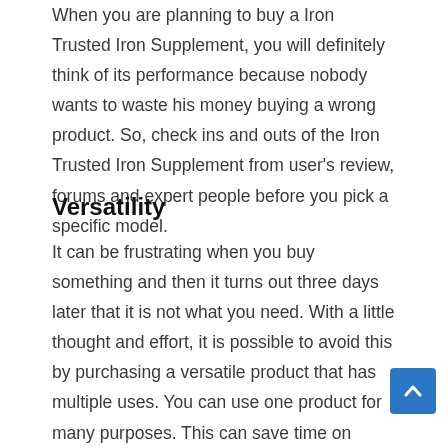When you are planning to buy a Iron Trusted Iron Supplement, you will definitely think of its performance because nobody wants to waste his money buying a wrong product. So, check ins and outs of the Iron Trusted Iron Supplement from user's review, forums and expert people before you pick a specific model.
Versatility
It can be frustrating when you buy something and then it turns out three days later that it is not what you need. With a little thought and effort, it is possible to avoid this by purchasing a versatile product that has multiple uses. You can use one product for many purposes. This can save time on products that may not get used up quickly.